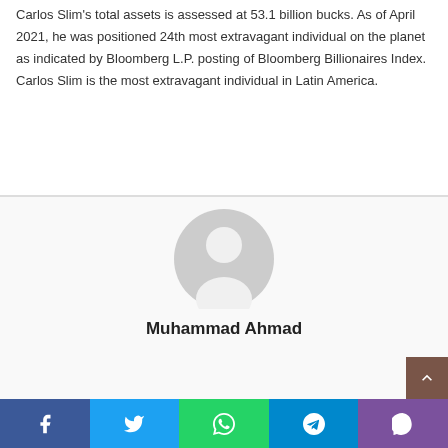Carlos Slim's total assets is assessed at 53.1 billion bucks. As of April 2021, he was positioned 24th most extravagant individual on the planet as indicated by Bloomberg L.P. posting of Bloomberg Billionaires Index. Carlos Slim is the most extravagant individual in Latin America.
[Figure (illustration): Generic grey avatar/profile placeholder icon showing a silhouetted person inside a circle]
Muhammad Ahmad
Social share buttons: Facebook, Twitter, WhatsApp, Telegram, Viber